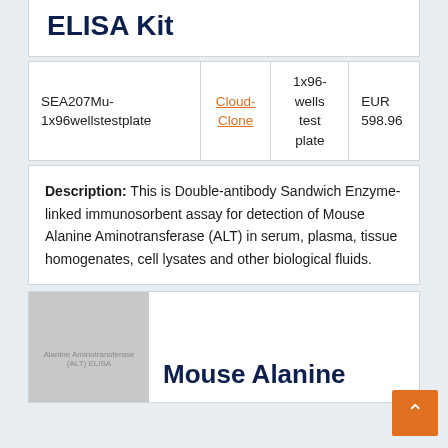ELISA Kit
|  | Supplier | Size | Price |
| --- | --- | --- | --- |
| SEA207Mu-1x96wellstestplate | Cloud-Clone | 1x96-wells test plate | EUR 598.96 |
Description: This is Double-antibody Sandwich Enzyme-linked immunosorbent assay for detection of Mouse Alanine Aminotransferase (ALT) in serum, plasma, tissue homogenates, cell lysates and other biological fluids.
[Figure (photo): Product image thumbnail for Mouse Alanine Aminotransferase (ALT) ELISA Kit]
Mouse Alanine